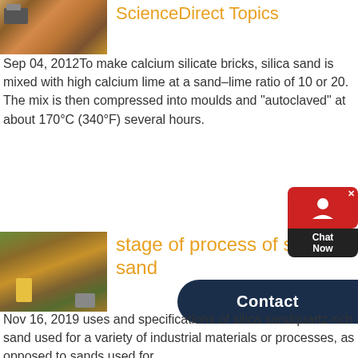[Figure (photo): Mining/construction machinery at a quarry or industrial site]
ScienceDirect Topics
Sep 04, 2012To make calcium silicate bricks, silica sand is mixed with high calcium lime at a sand–lime ratio of 10 or 20. The mix is then compressed into moulds and "autoclaved" at about 170°C (340°F) several hours.
[Figure (photo): Open-cast mining operation with heavy machinery and excavation]
stage of process of silica sand
Nov 16, 2019 uses and specifications of silica sandquartz-rich sand used for a variety of industrial materials or processes, as opposed to sands used for